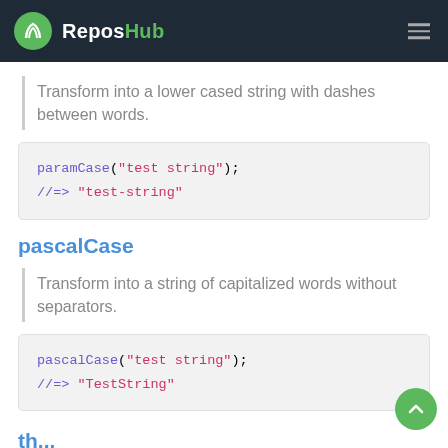ReposHub
Transform into a lower cased string with dashes between words.
paramCase("test string");
//=> "test-string"
pascalCase
Transform into a string of capitalized words without separators.
pascalCase("test string");
//=> "TestString"
th...